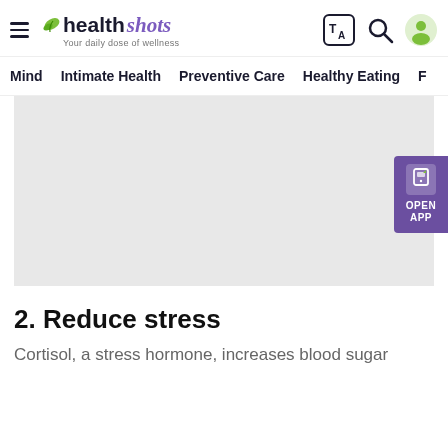healthshots — Your daily dose of wellness
Mind   Intimate Health   Preventive Care   Healthy Eating   F
[Figure (photo): Gray placeholder image area for article illustration]
2. Reduce stress
Cortisol, a stress hormone, increases blood sugar